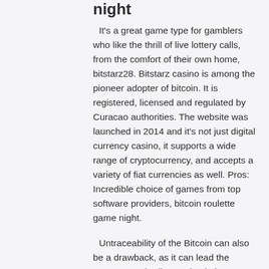night
It's a great game type for gamblers who like the thrill of live lottery calls, from the comfort of their own home, bitstarz28. Bitstarz casino is among the pioneer adopter of bitcoin. It is registered, licensed and regulated by Curacao authorities. The website was launched in 2014 and it's not just digital currency casino, it supports a wide range of cryptocurrency, and accepts a variety of fiat currencies as well. Pros: Incredible choice of games from top software providers, bitcoin roulette game night.
Untraceability of the Bitcoin can also be a drawback, as it can lead the government bodies to check the user's actions. Also, Bitcoin in yet to be widely adopted, so that the people who are using it could buy anything with it, . Currently, players often have to exchange their winnings for US dollars or other stable fiat currency in order